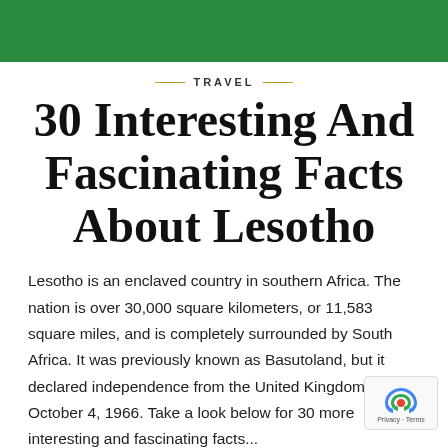[Figure (other): Green banner/header bar at top of page]
TRAVEL
30 Interesting And Fascinating Facts About Lesotho
Lesotho is an enclaved country in southern Africa. The nation is over 30,000 square kilometers, or 11,583 square miles, and is completely surrounded by South Africa. It was previously known as Basutoland, but it declared independence from the United Kingdom on October 4, 1966. Take a look below for 30 more interesting and fascinating facts...
February 8, 2018